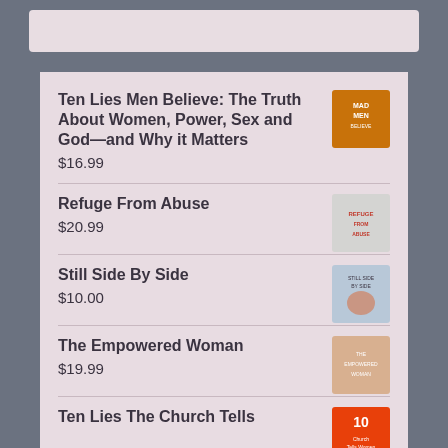Ten Lies Men Believe: The Truth About Women, Power, Sex and God—and Why it Matters
$16.99
Refuge From Abuse
$20.99
Still Side By Side
$10.00
The Empowered Woman
$19.99
Ten Lies The Church Tells